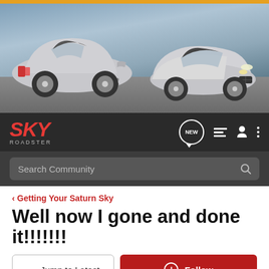[Figure (photo): Two silver Saturn Sky roadster convertibles on a road, one facing away and one facing toward the viewer, against a dramatic sky background.]
SKY ROADSTER — Navigation bar with NEW, list, person, and menu icons, and Search Community search bar
< Getting Your Saturn Sky
Well now I gone and done it!!!!!!!
→ Jump to Latest    ⊕ Follow
1 - 8 of 8 Posts
RMFNSKY · Registered 🇺🇸
Joined May 7, 2005 · 2,056 Posts